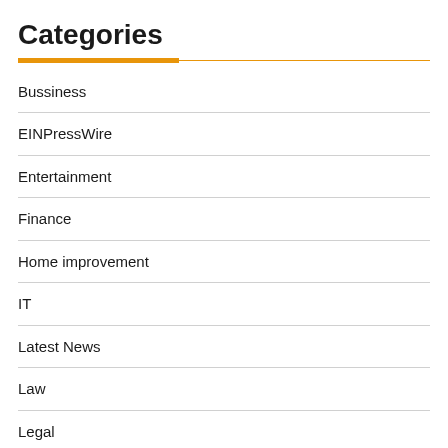Categories
Bussiness
EINPressWire
Entertainment
Finance
Home improvement
IT
Latest News
Law
Legal
Lifestyle
Miss